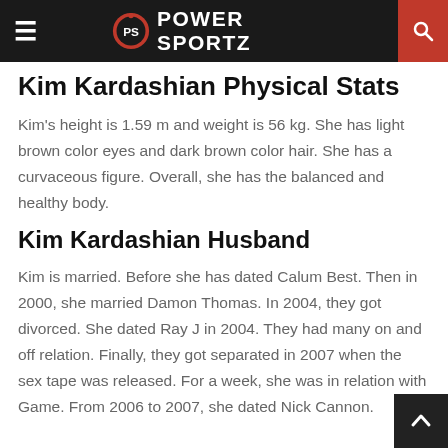PS POWER SPORTZ
Kim Kardashian Physical Stats
Kim's height is 1.59 m and weight is 56 kg. She has light brown color eyes and dark brown color hair. She has a curvaceous figure. Overall, she has the balanced and healthy body.
Kim Kardashian Husband
Kim is married. Before she has dated Calum Best. Then in 2000, she married Damon Thomas. In 2004, they got divorced. She dated Ray J in 2004. They had many on and off relation. Finally, they got separated in 2007 when the sex tape was released. For a week, she was in relation with Game. From 2006 to 2007, she dated Nick Cannon.